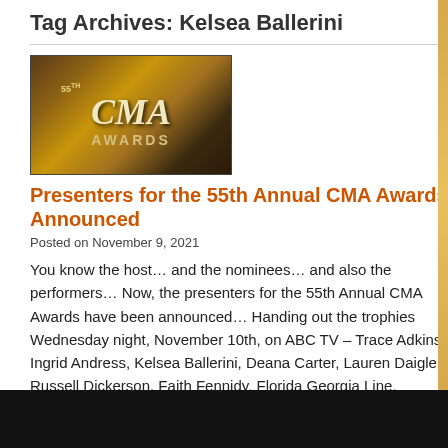Tag Archives: Kelsea Ballerini
[Figure (photo): 55th CMA Awards logo on a golden curtain background]
Presenters for the 55th Annual CMA Awards Announced
Posted on November 9, 2021
You know the host… and the nominees… and also the performers… Now, the presenters for the 55th Annual CMA Awards have been announced… Handing out the trophies Wednesday night, November 10th, on ABC TV – Trace Adkins, Ingrid Andress, Kelsea Ballerini, Deana Carter, Lauren Daigle, Russell Dickerson, Faith Fennidy, Florida Georgia Line, Freddie